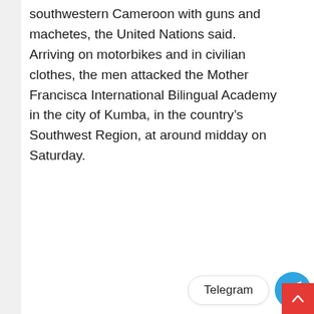southwestern Cameroon with guns and machetes, the United Nations said. Arriving on motorbikes and in civilian clothes, the men attacked the Mother Francisca International Bilingual Academy in the city of Kumba, in the country's Southwest Region, at around midday on Saturday.
[Figure (logo): Telegram app button with blue circular icon showing a paper plane, and a white pill-shaped button labeled 'Telegram', plus a red scroll-to-top button with an upward chevron arrow.]